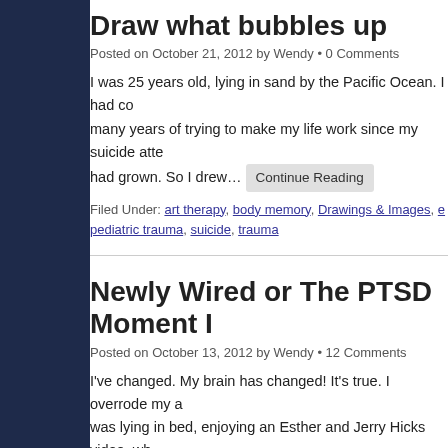Draw what bubbles up
Posted on October 21, 2012 by Wendy • 0 Comments
I was 25 years old, lying in sand by the Pacific Ocean. I had co many years of trying to make my life work since my suicide atte had grown. So I drew… Continue Reading
Filed Under: art therapy, body memory, Drawings & Images, e pediatric trauma, suicide, trauma
Newly Wired or The PTSD Moment I
Posted on October 13, 2012 by Wendy • 12 Comments
I've changed. My brain has changed!  It's true. I overrode my a was lying in bed, enjoying an Esther and Jerry Hicks video, wh computer screen. Freak out!  That round, bright light hovering
Filed Under: Dr. Daniel J. Seigel, emotional health, healing, inf trauma